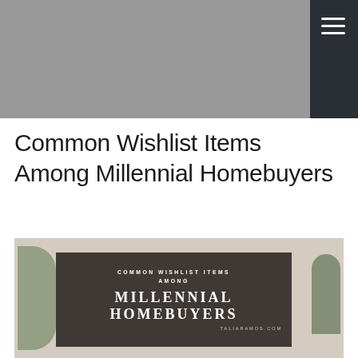[Figure (photo): Header photo showing a room interior with a dark side panel and hamburger menu icon]
Common Wishlist Items Among Millennial Homebuyers
[Figure (photo): Room interior photo with mid-century modern chair and plants, overlaid with dark text box reading: COMMON WISHLIST ITEMS AMONG MILLENNIAL HOMEBUYERS taliaramos.com]